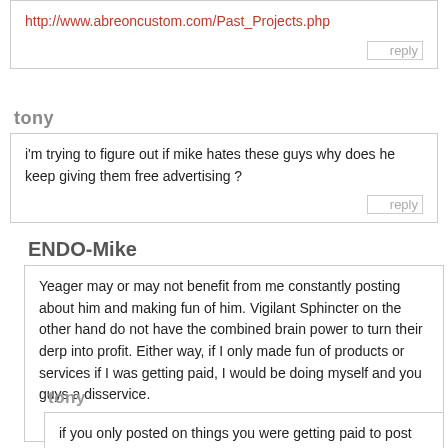http://www.abreoncustom.com/Past_Projects.php
reply
tony
i'm trying to figure out if mike hates these guys why does he keep giving them free advertising ?
reply
ENDO-Mike
Yeager may or may not benefit from me constantly posting about him and making fun of him. Vigilant Sphincter on the other hand do not have the combined brain power to turn their derp into profit. Either way, if I only made fun of products or services if I was getting paid, I would be doing myself and you guys a disservice.
reply
tony
if you only posted on things you were getting paid to post on i